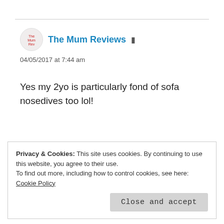The Mum Reviews
04/05/2017 at 7:44 am
Yes my 2yo is particularly fond of sofa nosedives too lol!
Liked by 1 person
Reply
Privacy & Cookies: This site uses cookies. By continuing to use this website, you agree to their use.
To find out more, including how to control cookies, see here: Cookie Policy
Close and accept